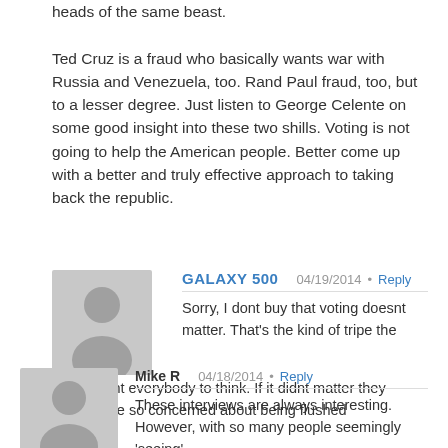heads of the same beast.

Ted Cruz is a fraud who basically wants war with Russia and Venezuela, too. Rand Paul fraud, too, but to a lesser degree. Just listen to George Celente on some good insight into these two shills. Voting is not going to help the American people. Better come up with a better and truly effective approach to taking back the republic.
GALAXY 500  04/19/2014 · Reply
Sorry, I dont buy that voting doesnt matter. That's the kind of tripe the Dems want everybody to think. If it didnt matter they wouldn't be so concerned about being flushed
Mike R  04/18/2014 · Reply
These interviews are always interesting. However, with so many people seemingly 'seeing' a collapse coming, and I guess they are people who might